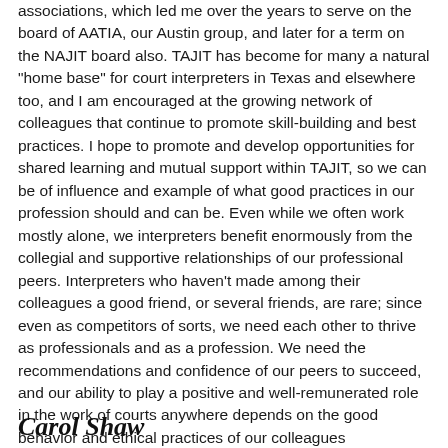associations, which led me over the years to serve on the board of AATIA, our Austin group, and later for a term on the NAJIT board also. TAJIT has become for many a natural "home base" for court interpreters in Texas and elsewhere too, and I am encouraged at the growing network of colleagues that continue to promote skill-building and best practices. I hope to promote and develop opportunities for shared learning and mutual support within TAJIT, so we can be of influence and example of what good practices in our profession should and can be. Even while we often work mostly alone, we interpreters benefit enormously from the collegial and supportive relationships of our professional peers. Interpreters who haven't made among their colleagues a good friend, or several friends, are rare; since even as competitors of sorts, we need each other to thrive as professionals and as a profession. We need the recommendations and confidence of our peers to succeed, and our ability to play a positive and well-remunerated role in the work of courts anywhere depends on the good behavior and ethical practices of our colleagues everywhere. If elected I would be honored to serve our association and membership.
Carol Shaw